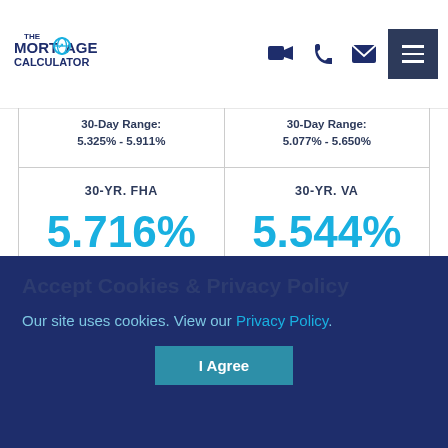[Figure (logo): The Mortgage Calculator logo — dark navy text with stylized 'O' containing globe icon]
| 30-YR. FHA | 30-YR. VA |
| --- | --- |
| 5.716% | 5.544% |
| ▲ 0.060 | ▲ 0.093 |
| 30-Day Range: 5.244% - 5.716% | 30-Day Range: 4.945% - 5.544% |
30-Day Range: 5.325% - 5.911%
30-Day Range: 5.077% - 5.650%
Accept Cookies & Privacy Policy
Our site uses cookies. View our Privacy Policy.
I Agree